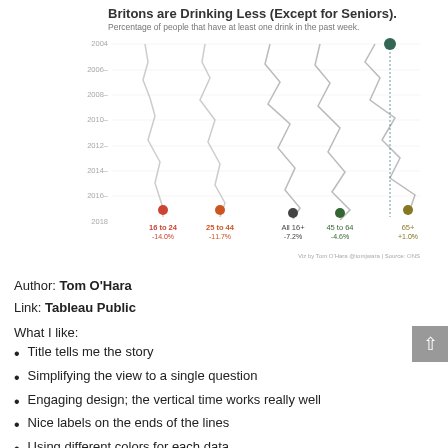[Figure (line-chart): Line chart with vertical time axis (years 2004–2018) showing percentage of people that have at least one drink in the past week, for 5 age groups: 16 to 24 (-14.0%), 25 to 44 (-11.7%), All 16+ (-7.2%), 45 to 64 (-4.6%), 65+ (1.0%). Each line runs from top (2004) to bottom (2018/2016), with colored dots and change labels at the bottom.]
Author: Tom O'Hara
Link: Tableau Public
What I like:
Title tells me the story
Simplifying the view to a single question
Engaging design; the vertical time works really well
Nice labels on the ends of the lines
Using different colors for each data...